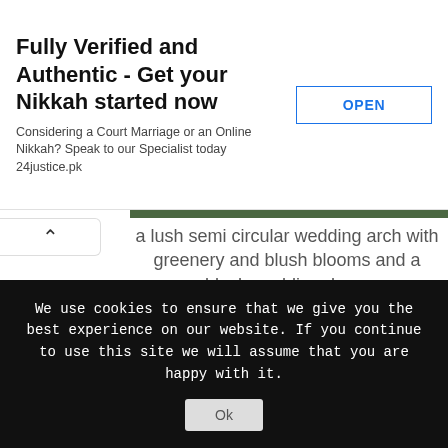[Figure (screenshot): Advertisement banner: 'Fully Verified and Authentic - Get your Nikkah started now' with OPEN button and ad icons. Subtext: 'Considering a Court Marriage or an Online Nikkah? Speak to our Specialist today 24justice.pk']
a lush semi circular wedding arch with greenery and blush blooms and a blush wedding dress
[Figure (photo): Outdoor wedding arch decorated with blush blooms and greenery, photographed from below against a sky and tree canopy]
We use cookies to ensure that we give you the best experience on our website. If you continue to use this site we will assume that you are happy with it.